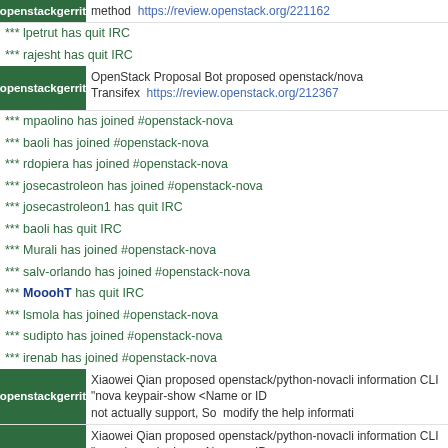openstackgerrit method https://review.openstack.org/221162
*** lpetrut has quit IRC
*** rajesht has quit IRC
openstackgerrit OpenStack Proposal Bot proposed openstack/nova Transifex https://review.openstack.org/212367
*** mpaolino has joined #openstack-nova
*** baoli has joined #openstack-nova
*** rdopiera has joined #openstack-nova
*** josecastroleon has joined #openstack-nova
*** josecastroleon1 has quit IRC
*** baoli has quit IRC
*** Murali has joined #openstack-nova
*** salv-orlando has joined #openstack-nova
*** MooohT has quit IRC
*** lsmola has joined #openstack-nova
*** sudipto has joined #openstack-nova
*** irenab has joined #openstack-nova
openstackgerrit Xiaowei Qian proposed openstack/python-novacli information CLI "nova keypair-show <Name or ID not actually support, So  modify the help informati
openstackgerrit Xiaowei Qian proposed openstack/python-novacli information CLI "nova keypair-show <Name or ID not actually support, So modify the help informati